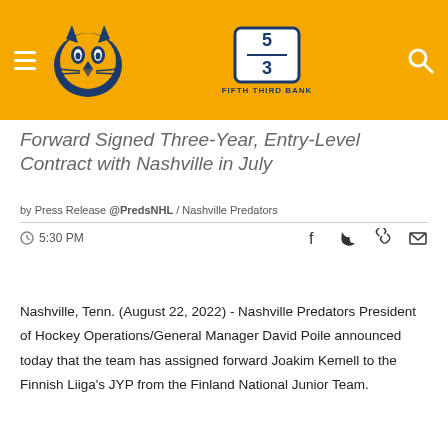Nashville Predators / Fifth Third Bank header navigation
Forward Signed Three-Year, Entry-Level Contract with Nashville in July
by Press Release @PredsNHL / Nashville Predators
5:30 PM
Nashville, Tenn. (August 22, 2022) - Nashville Predators President of Hockey Operations/General Manager David Poile announced today that the team has assigned forward Joakim Kemell to the Finnish Liiga's JYP from the Finland National Junior Team.